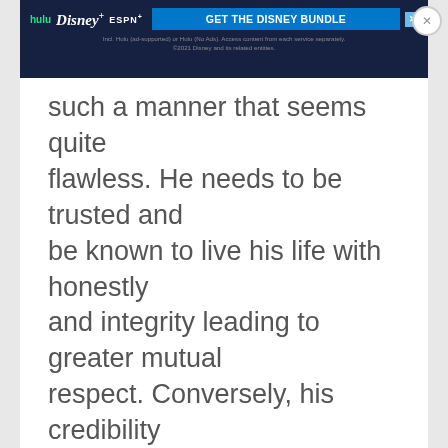[Figure (screenshot): Disney Bundle advertisement banner with Hulu, Disney+, and ESPN+ logos and a blue 'GET THE DISNEY BUNDLE' call-to-action button]
such a manner that seems quite flawless. He needs to be trusted and be known to live his life with honestly and integrity leading to greater mutual respect. Conversely, his credibility would be u... will lose respect from these.
[Figure (screenshot): Orange 'Continue Reading' button overlay]
[Figure (screenshot): Green 'Check Writing Quality' button overlay]
[Figure (screenshot): Second Disney Bundle advertisement banner at bottom of page]